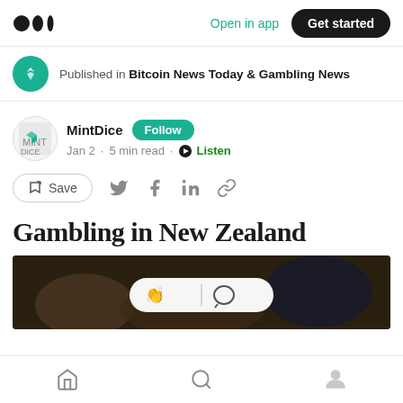Medium logo | Open in app | Get started
Published in Bitcoin News Today & Gambling News
MintDice Follow
Jan 2 · 5 min read · Listen
Save (share icons)
Gambling in New Zealand
[Figure (photo): Dark photo of people at a gambling/casino table, with a floating action bar showing clap and comment icons]
Home | Search | Profile navigation icons